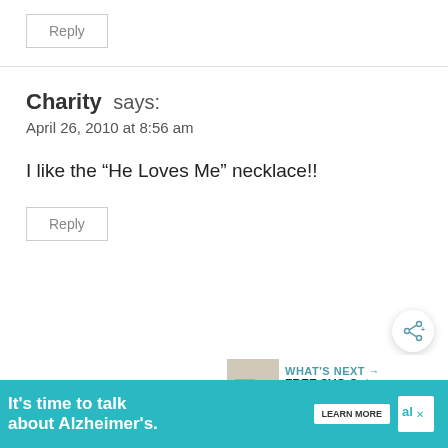Reply
Charity says:
April 26, 2010 at 8:56 am
I like the “He Loves Me” necklace!!
Reply
[Figure (screenshot): WHAT'S NEXT arrow with thumbnail image and text: FREE SVG Cut Files for Cri...]
burlap+blue says:
[Figure (infographic): Alzheimer's association advertisement: It's time to talk about Alzheimer's. LEARN MORE button with logo.]